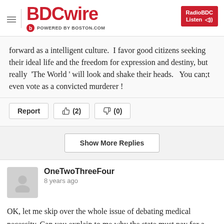[Figure (logo): BDCwire logo with hamburger menu icon and RadioBDC Listen button]
forward as a intelligent culture.  I favor good citizens seeking their ideal life and the freedom for expression and destiny, but really  'The World ' will look and shake their heads.   You can;t even vote as a convicted murderer !
Report  👍 (2)  👎 (0)
Show More Replies
OneTwoThreeFour
8 years ago
OK, let me skip over the whole issue of debating medical necessity. Can you explain to me why the state must pay for a